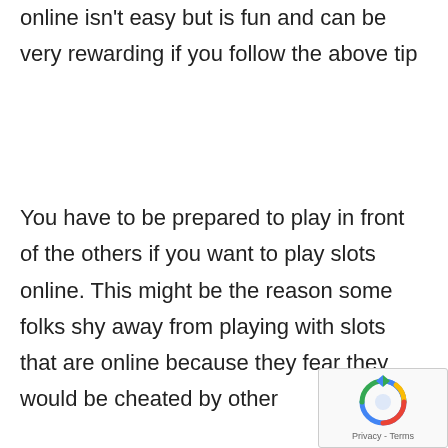online isn't easy but is fun and can be very rewarding if you follow the above tip
You have to be prepared to play in front of the others if you want to play slots online. This might be the reason some folks shy away from playing with slots that are online because they fear they would be cheated by other
You should know about the availability of the slot machine. Look for the signs before you step into the room where the machines are located. You don't want to get involved with an internet slot game
[Figure (other): reCAPTCHA widget with rotating arrows icon and Privacy - Terms text]